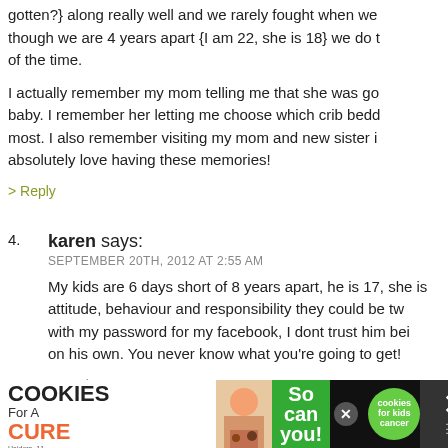gotten?} along really well and we rarely fought when we are 4 years apart {I am 22, she is 18} we do th of the time.
I actually remember my mom telling me that she was go baby. I remember her letting me choose which crib bedo most. I also remember visiting my mom and new sister i absolutely love having these memories!
> Reply
4. karen says: SEPTEMBER 20TH, 2012 AT 2:55 AM
My kids are 6 days short of 8 years apart, he is 17, she is attitude, behaviour and responsibility they could be tw with my password for my facebook, I dont trust him bei on his own. You never know what you're going to get!
> Reply
TonyaM says:
[Figure (other): Advertisement banner: I Bake COOKIES For A CURE - Haidora, 11 Cancer Survivor - So can you! - cookies for kids cancer logo - close and menu buttons]